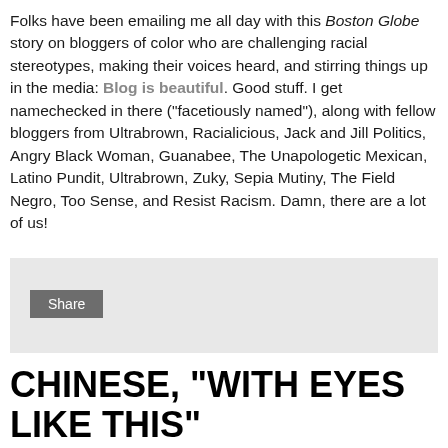Folks have been emailing me all day with this Boston Globe story on bloggers of color who are challenging racial stereotypes, making their voices heard, and stirring things up in the media: Blog is beautiful. Good stuff. I get namechecked in there ("facetiously named"), along with fellow bloggers from Ultrabrown, Racialicious, Jack and Jill Politics, Angry Black Woman, Guanabee, The Unapologetic Mexican, Latino Pundit, Ultrabrown, Zuky, Sepia Mutiny, The Field Negro, Too Sense, and Resist Racism. Damn, there are a lot of us!
[Figure (other): Gray share box with a Share button]
CHINESE, "WITH EYES LIKE THIS"